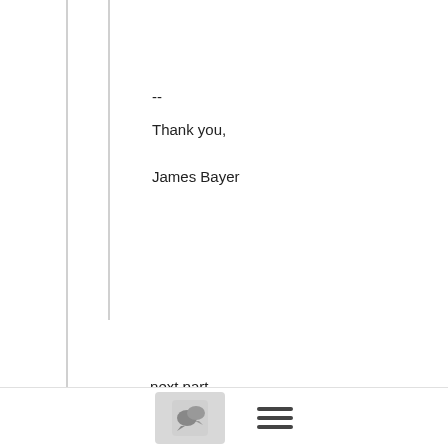--
Thank you,

James Bayer
---------------- next part ----------------
An HTML attachment was scrubbed...
URL: <
http://lists.cloudfoundry.org/pipermail/cf-dev/attachments/20150526/31789891/attachment.html
------------------------------